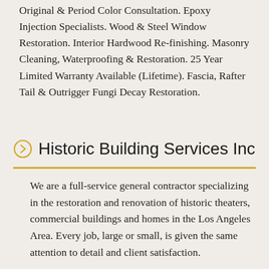Original & Period Color Consultation. Epoxy Injection Specialists. Wood & Steel Window Restoration. Interior Hardwood Re-finishing. Masonry Cleaning, Waterproofing & Restoration. 25 Year Limited Warranty Available (Lifetime). Fascia, Rafter Tail & Outrigger Fungi Decay Restoration.
Historic Building Services Inc
We are a full-service general contractor specializing in the restoration and renovation of historic theaters, commercial buildings and homes in the Los Angeles Area. Every job, large or small, is given the same attention to detail and client satisfaction.